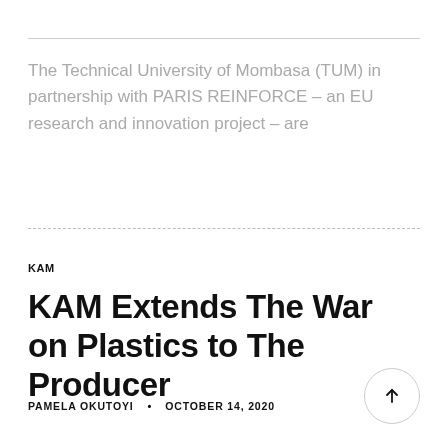The Technical University of Mombasa (TUM) in partnership with PARIS REINFORCE – an EU research and innovation project – are
KAM
KAM Extends The War on Plastics to The Producer
PAMELA OKUTOYI · OCTOBER 14, 2020